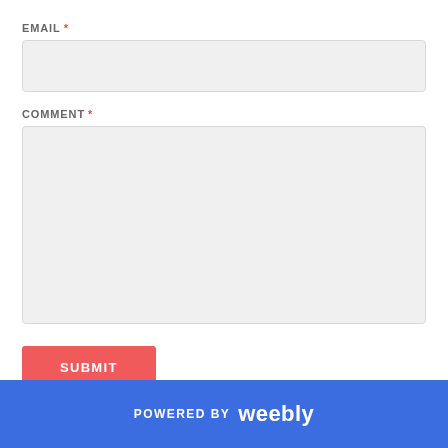EMAIL *
COMMENT *
SUBMIT
POWERED BY weebly